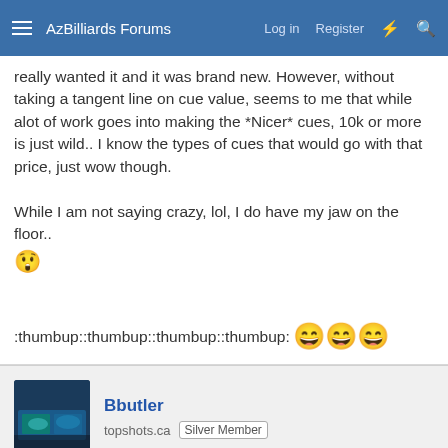AzBilliards Forums  Log in  Register
really wanted it and it was brand new. However, without taking a tangent line on cue value, seems to me that while alot of work goes into making the *Nicer* cues, 10k or more is just wild.. I know the types of cues that would go with that price, just wow though.

While I am not saying crazy, lol, I do have my jaw on the floor.. 😲

:thumbup::thumbup::thumbup::thumbup: 😄😄😄
Bbutler
topshots.ca  Silver Member
May 2, 2016  #56
A mid range Schon. What more do you need?